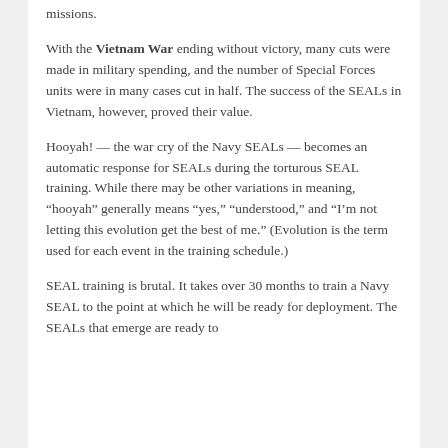missions.
With the Vietnam War ending without victory, many cuts were made in military spending, and the number of Special Forces units were in many cases cut in half. The success of the SEALs in Vietnam, however, proved their value.
Hooyah! — the war cry of the Navy SEALs — becomes an automatic response for SEALs during the torturous SEAL training. While there may be other variations in meaning, “hooyah” generally means “yes,” “understood,” and “I’m not letting this evolution get the best of me.” (Evolution is the term used for each event in the training schedule.)
SEAL training is brutal. It takes over 30 months to train a Navy SEAL to the point at which he will be ready for deployment. The SEALs that emerge are ready to